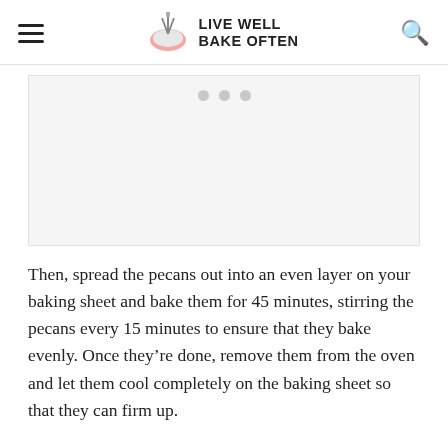LIVE WELL BAKE OFTEN
[Figure (other): Advertisement placeholder box with three gray dots]
Then, spread the pecans out into an even layer on your baking sheet and bake them for 45 minutes, stirring the pecans every 15 minutes to ensure that they bake evenly. Once they're done, remove them from the oven and let them cool completely on the baking sheet so that they can firm up.